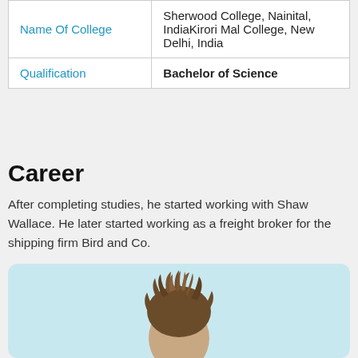| Name Of College | Sherwood College, Nainital, IndiaKirori Mal College, New Delhi, India |
| Qualification | Bachelor of Science |
Career
After completing studies, he started working with Shaw Wallace. He later started working as a freight broker for the shipping firm Bird and Co.
[Figure (photo): Photo of a person showing disheveled hair and top of head against a light blue background]